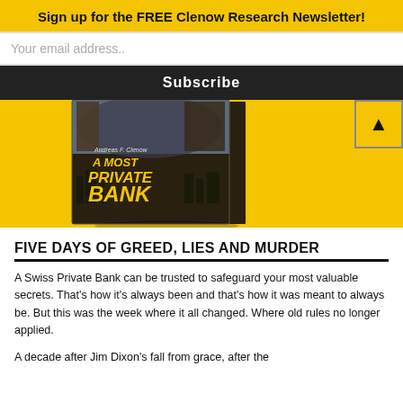Sign up for the FREE Clenow Research Newsletter!
Your email address..
Subscribe
[Figure (photo): Book cover of 'A Most Private Bank' by Andreas F. Clenow, showing a dramatic cityscape with figures, displayed as a 3D book mockup on a yellow background.]
FIVE DAYS OF GREED, LIES AND MURDER
A Swiss Private Bank can be trusted to safeguard your most valuable secrets. That's how it's always been and that's how it was meant to always be. But this was the week where it all changed. Where old rules no longer applied.
A decade after Jim Dixon's fall from grace, after the